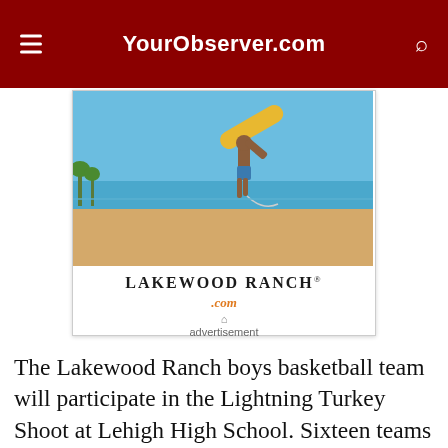YourObserver.com
[Figure (photo): Advertisement for Lakewood Ranch showing a surfer carrying a yellow surfboard on a beach, with the Lakewood Ranch .com brand name below.]
advertisement
The Lakewood Ranch boys basketball team will participate in the Lightning Turkey Shoot at Lehigh High School. Sixteen teams will play in the tournament. The Mustangs play Martin County at 7:45 p.m. on Friday and Belen Jesuit at 2:15 p.m. on